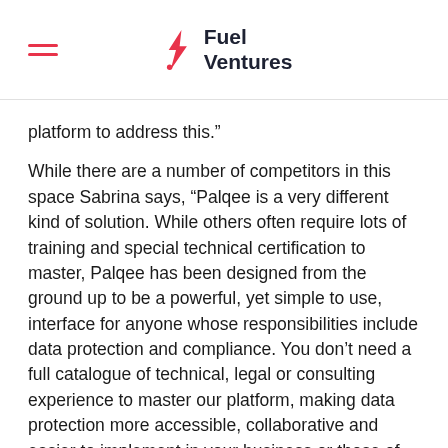Fuel Ventures
platform to address this.”
While there are a number of competitors in this space Sabrina says, “Palqee is a very different kind of solution. While others often require lots of training and special technical certification to master, Palqee has been designed from the ground up to be a powerful, yet simple to use, interface for anyone whose responsibilities include data protection and compliance. You don’t need a full catalogue of technical, legal or consulting experience to master our platform, making data protection more accessible, collaborative and easier to implement in your business or those of